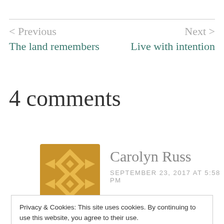< Previous
The land remembers
Next >
Live with intention
4 comments
[Figure (illustration): Carolyn Russ avatar — golden geometric/quilt pattern icon]
Carolyn Russ
SEPTEMBER 23, 2017 AT 5:58 PM
Privacy & Cookies: This site uses cookies. By continuing to use this website, you agree to their use.
To find out more, including how to control cookies, see here:
Cookie Policy
Close and accept
[Figure (illustration): Deb Hanson avatar — illustrated portrait of a woman]
Deb Hanson